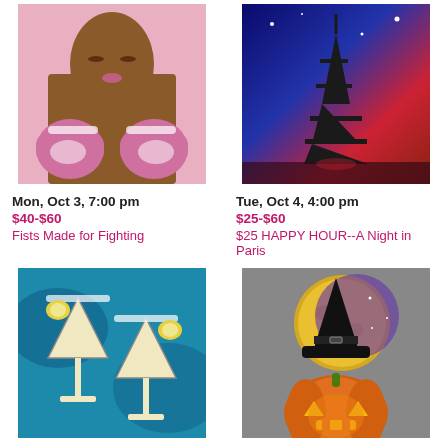[Figure (illustration): Painting of a woman with boxing gloves]
[Figure (illustration): Painting of the Eiffel Tower at night with red and blue sky]
Mon, Oct 3, 7:00 pm
$40-$60
Fists Made for Fighting
Tue, Oct 4, 4:00 pm
$25-$60
$25 HAPPY HOUR--A Night in Paris
[Figure (illustration): Painting of two martini glasses on blue background]
[Figure (illustration): Painting of a jack-o-lantern pumpkin with witch hat and moon]